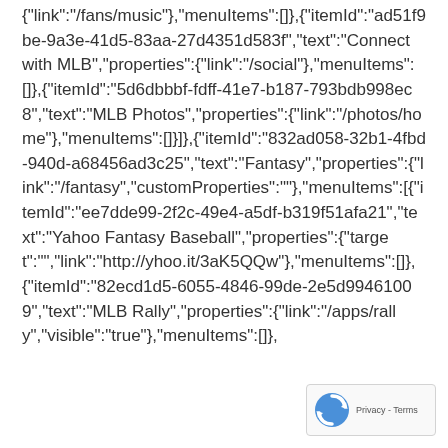{"link":"/fans/music"},"menuItems":[]},{"itemId":"ad51f9be-9a3e-41d5-83aa-27d4351d583f","text":"Connect with MLB","properties":{"link":"/social"},"menuItems":[]},{"itemId":"5d6dbbbf-fdff-41e7-b187-793bdb998ec8","text":"MLB Photos","properties":{"link":"/photos/home"},"menuItems":[]}]},{"itemId":"832ad058-32b1-4fbd-940d-a68456ad3c25","text":"Fantasy","properties":{"link":"/fantasy","customProperties":""},"menuItems":[{"itemId":"ee7dde99-2f2c-49e4-a5df-b319f51afa21","text":"Yahoo Fantasy Baseball","properties":{"target":"","link":"http://yhoo.it/3aK5QQw"},"menuItems":[]},{"itemId":"82ecd1d5-6055-4846-99de-2e5d99461009","text":"MLB Rally","properties":{"link":"/apps/rally","visible":"true"},"menuItems":[]},
[Figure (logo): reCAPTCHA badge with spinning arrow logo and 'Privacy - Terms' text]